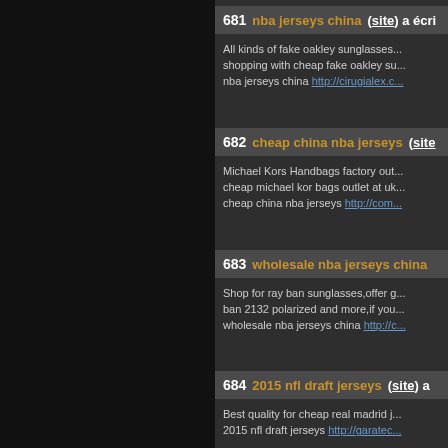681  nba jerseys china (site) a écri... All kinds of fake oakley sunglasses... shopping with cheap fake oakley su... nba jerseys china http://cirugialex.c...
682  cheap china nba jerseys (site... Michael Kors Handbags factory out... cheap michael kor bags outlet at uk... cheap china nba jerseys http://com...
683  wholesale nba jerseys china ... Shop for ray ban sunglasses,offer g... ban 2132 polarized and more,if you... wholesale nba jerseys china http://c...
684  2015 nfl draft jerseys (site) a ... Best quality for cheap real madrid j... 2015 nfl draft jerseys http://garatec...